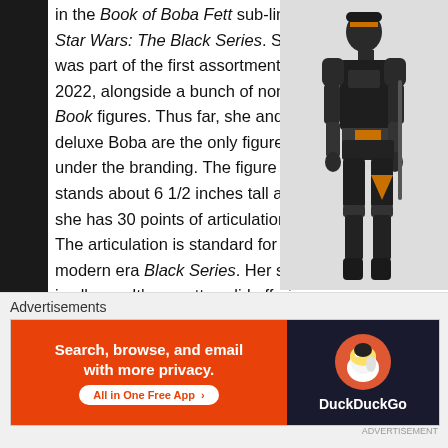in the Book of Boba Fett sub-line of Star Wars: The Black Series. She was part of the first assortment of 2022, alongside a bunch of non-Book figures. Thus far, she and the deluxe Boba are the only figures under the branding. The figure stands about 6 1/2 inches tall and she has 30 points of articulation. The articulation is standard for modern era Black Series. Her sculpt is all-new. It's a pretty solid offering. The head sculpt has a respectable likeness of Ming-Na Wen, as well as matching pretty well with the body sculpt is a nice, clean recreation of her show desi
[Figure (photo): A Star Wars Black Series action figure of a female character in dark armored costume with orange/gold accents, posed against a light background]
Advertisements
[Figure (infographic): DuckDuckGo advertisement banner: orange left panel reading 'Search, browse, and email with more privacy. All in One Free App', dark right panel with DuckDuckGo duck logo and brand name]